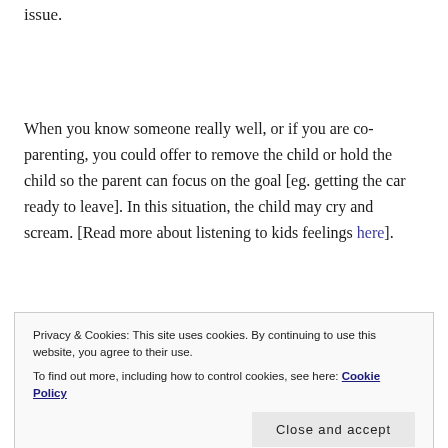issue.
When you know someone really well, or if you are co-parenting, you could offer to remove the child or hold the child so the parent can focus on the goal [eg. getting the car ready to leave]. In this situation, the child may cry and scream. [Read more about listening to kids feelings here].
So often, parents back out of hard decisions in social
Privacy & Cookies: This site uses cookies. By continuing to use this website, you agree to their use.
To find out more, including how to control cookies, see here: Cookie Policy
Close and accept
and